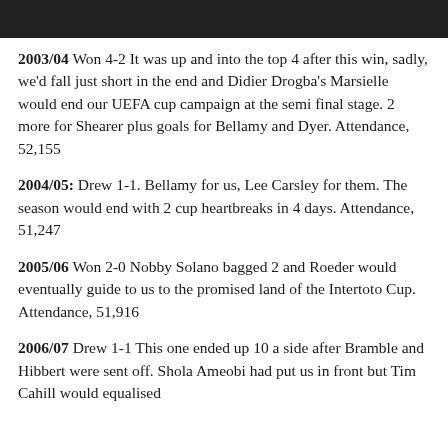[Figure (photo): Dark image bar at top of page]
2003/04 Won 4-2 It was up and into the top 4 after this win, sadly, we'd fall just short in the end and Didier Drogba's Marsielle would end our UEFA cup campaign at the semi final stage. 2 more for Shearer plus goals for Bellamy and Dyer. Attendance, 52,155
2004/05: Drew 1-1. Bellamy for us, Lee Carsley for them. The season would end with 2 cup heartbreaks in 4 days. Attendance, 51,247
2005/06 Won 2-0 Nobby Solano bagged 2 and Roeder would eventually guide to us to the promised land of the Intertoto Cup. Attendance, 51,916
2006/07 Drew 1-1 This one ended up 10 a side after Bramble and Hibbert were sent off. Shola Ameobi had put us in front but Tim Cahill would equalised